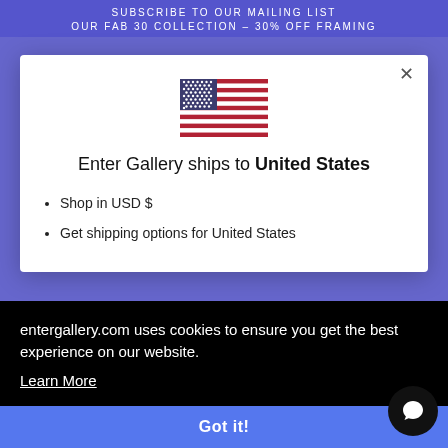SUBSCRIBE TO OUR MAILING LIST
OUR FAB 30 COLLECTION – 30% OFF FRAMING
[Figure (illustration): US flag emoji/illustration centered in modal]
Enter Gallery ships to United States
Shop in USD $
Get shipping options for United States
entergallery.com uses cookies to ensure you get the best experience on our website. Learn More
Got it!